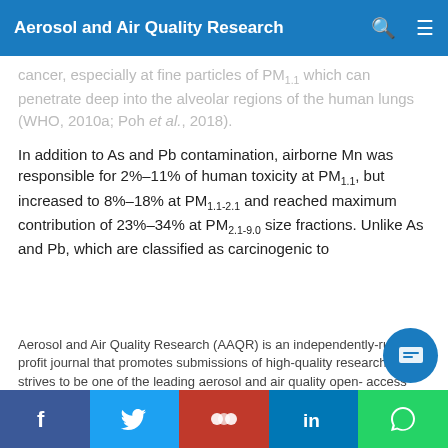Aerosol and Air Quality Research
cancer, especially at fine particles of PM1.1 which can penetrate deep into the alveolar regions of the human lungs (WHO, 2010a; Poh et al., 2018).
In addition to As and Pb contamination, airborne Mn was responsible for 2%–11% of human toxicity at PM1.1, but increased to 8%–18% at PM1.1-2.1 and reached maximum contribution of 23%–34% at PM2.1-9.0 size fractions. Unlike As and Pb, which are classified as carcinogenic to
Aerosol and Air Quality Research (AAQR) is an independently-run non-profit journal that promotes submissions of high-quality research and strives to be one of the leading aerosol and air quality open-access journals in the world. We use cookies on this website to personalize content to improve your user experience and analyze our traffic. By using this site you agree to its use of cookies.